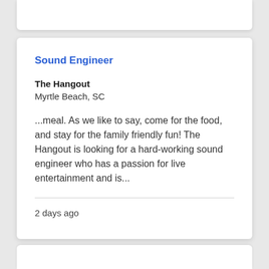Sound Engineer
The Hangout
Myrtle Beach, SC
...meal. As we like to say, come for the food, and stay for the family friendly fun! The Hangout is looking for a hard-working sound engineer who has a passion for live entertainment and is...
2 days ago